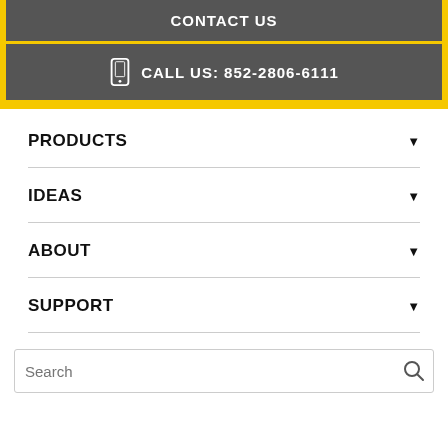CONTACT US
CALL US: 852-2806-6111
PRODUCTS
IDEAS
ABOUT
SUPPORT
Search